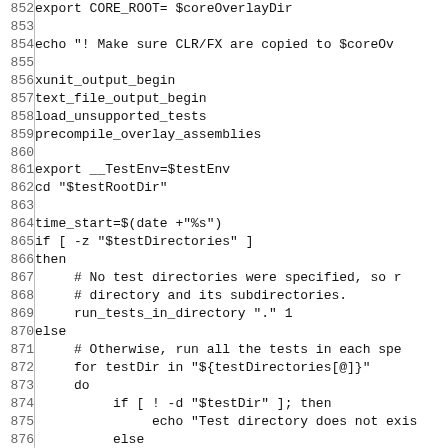852 export CORE_ROOT= $coreOverlayDir
853 
854 echo "! Make sure CLR/FX are copied to $coreOv
855 
856 xunit_output_begin
857 text_file_output_begin
858 load_unsupported_tests
859 precompile_overlay_assemblies
860 
861 export __TestEnv=$testEnv
862 cd "$testRootDir"
863 
864 time_start=$(date +"%s")
865 if [ -z "$testDirectories" ]
866 then
867     # No test directories were specified, so r
868     # directory and its subdirectories.
869     run_tests_in_directory "." 1
870 else
871     # Otherwise, run all the tests in each spe
872     for testDir in "${testDirectories[@]}"
873     do
874         if [ ! -d "$testDir" ]; then
875             echo "Test directory does not exis
876         else
877             run_tests_in_directory "./$testDir
878         fi
879     done
880 fi
881 
882 finish_printing_tests